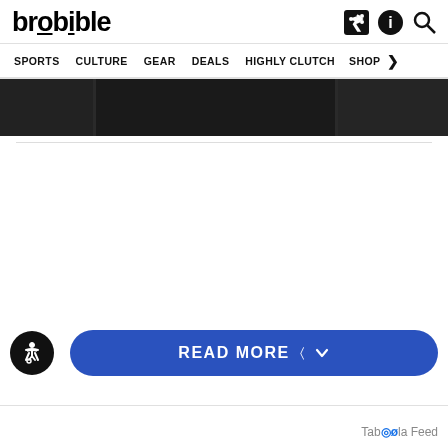brobible
SPORTS  CULTURE  GEAR  DEALS  HIGHLY CLUTCH  SHOP >
[Figure (screenshot): Dark hero image strip, partially visible, three sections black/dark gray]
READ MORE
Taboola Feed